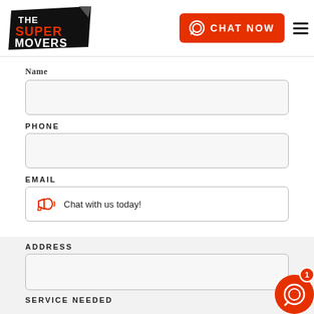[Figure (logo): The Super Movers logo: black banner shape with white text 'THE SUPER MOVERS', 'SUPER' in red]
[Figure (screenshot): Orange 'CHAT NOW' button with chat icon]
Name
[Figure (screenshot): Name input field (empty)]
PHONE
[Figure (screenshot): Phone input field (empty)]
EMAIL
[Figure (screenshot): Chat popup overlay: megaphone icon and text 'Chat with us today!']
ADDRESS
[Figure (screenshot): Address input field (empty)]
SERVICE NEEDED
[Figure (screenshot): Red chat bubble with '1' badge in bottom right corner]